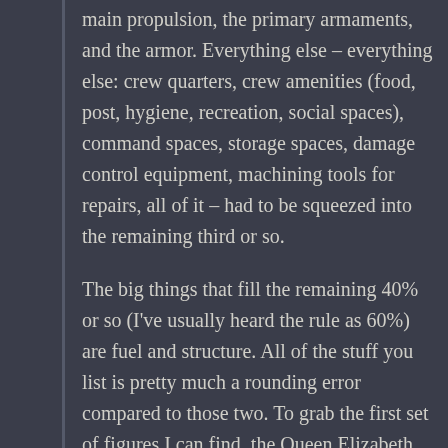main propulsion, the primary armaments, and the armor. Everything else – everything else: crew quarters, crew amenities (food, post, hygiene, recreation, social spaces), command spaces, storage spaces, damage control equipment, machining tools for repairs, all of it – had to be squeezed into the remaining third or so.
The big things that fill the remaining 40% or so (I've usually heard the rule as 60%) are fuel and structure. All of the stuff you list is pretty much a rounding error compared to those two. To grab the first set of figures I can find, the Queen Elizabeth class (~27,000 tons) comes in at 8,900 tons for the hull, 8,600 tons for armor, 4,550 tons of armament, 4,000 tons of machinery, 650 tons of general